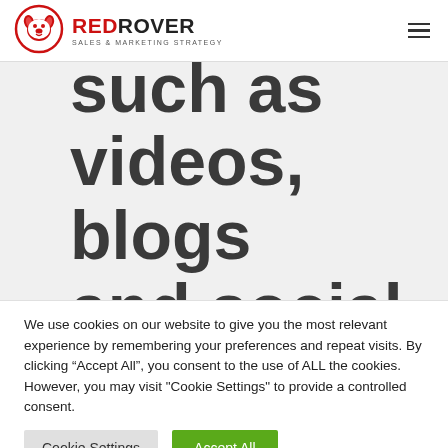[Figure (logo): RedRover Sales & Marketing Strategy logo — red circle with dog face icon, bold REDROVER text with RED in red and ROVER in dark, tagline SALES & MARKETING STRATEGY below]
such as videos, blogs and social-media posts
We use cookies on our website to give you the most relevant experience by remembering your preferences and repeat visits. By clicking “Accept All”, you consent to the use of ALL the cookies. However, you may visit "Cookie Settings" to provide a controlled consent.